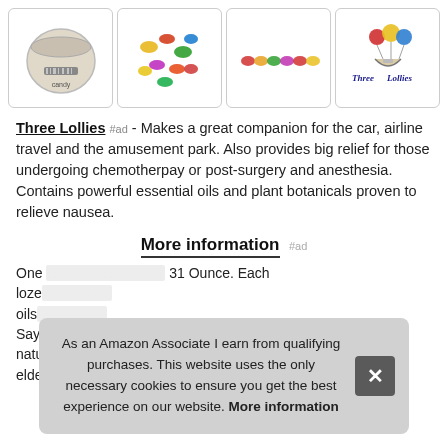[Figure (screenshot): Row of 4 product images: candy in a circular container with barcode, loose colorful hard candies, row of candies, and Three Lollies logo]
Three Lollies #ad - Makes a great companion for the car, airline travel and the amusement park. Also provides big relief for those undergoing chemotherpay or post-surgery and anesthesia. Contains powerful essential oils and plant botanicals proven to relieve nausea.
More information #ad
One [text partially obscured] 31 Ounce. Each lozenge [text partially obscured] oils [text partially obscured] Say [text partially obscured] natu[text partially obscured] elderly persons and pregnant moms
As an Amazon Associate I earn from qualifying purchases. This website uses the only necessary cookies to ensure you get the best experience on our website. More information